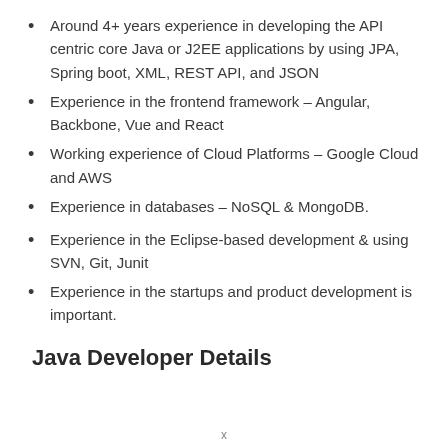Around 4+ years experience in developing the API centric core Java or J2EE applications by using JPA, Spring boot, XML, REST API, and JSON
Experience in the frontend framework – Angular, Backbone, Vue and React
Working experience of Cloud Platforms – Google Cloud and AWS
Experience in databases – NoSQL & MongoDB.
Experience in the Eclipse-based development & using SVN, Git, Junit
Experience in the startups and product development is important.
Java Developer Details
x